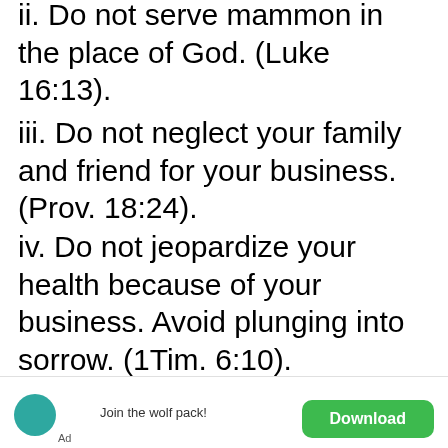ii. Do not serve mammon in the place of God. (Luke 16:13).
iii. Do not neglect your family and friend for your business. (Prov. 18:24).
iv. Do not jeopardize your health because of your business. Avoid plunging into sorrow. (1Tim. 6:10).
v. Do not neglect God for your business. (Prov. 10:22).